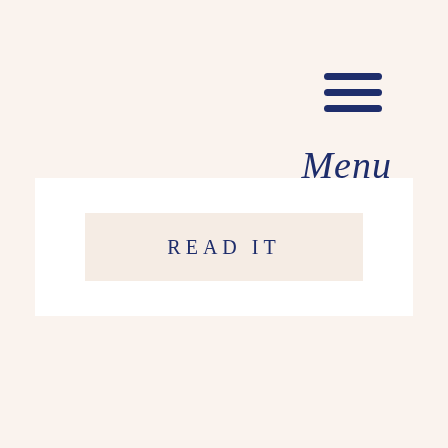[Figure (illustration): Hamburger menu icon with three horizontal navy blue bars, and cursive 'Menu' label below, positioned in the top-right corner]
READ IT